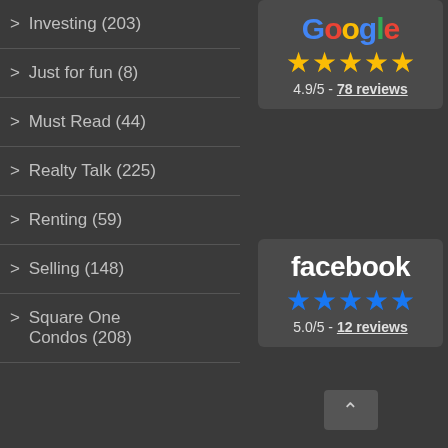> Investing (203)
> Just for fun (8)
> Must Read (44)
> Realty Talk (225)
> Renting (59)
> Selling (148)
> Square One Condos (208)
[Figure (infographic): Google review widget showing 4.9/5 stars with 78 reviews]
[Figure (infographic): Facebook review widget showing 5.0/5 stars with 12 reviews]